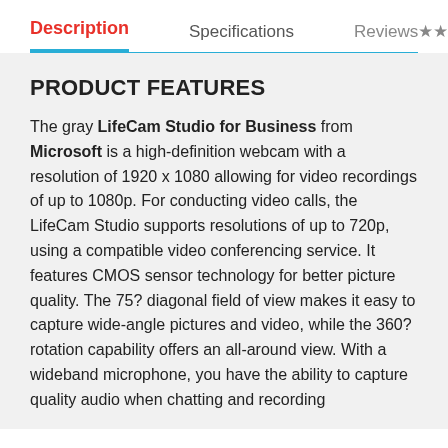Description | Specifications | Reviews
PRODUCT FEATURES
The gray LifeCam Studio for Business from Microsoft is a high-definition webcam with a resolution of 1920 x 1080 allowing for video recordings of up to 1080p. For conducting video calls, the LifeCam Studio supports resolutions of up to 720p, using a compatible video conferencing service. It features CMOS sensor technology for better picture quality. The 75? diagonal field of view makes it easy to capture wide-angle pictures and video, while the 360? rotation capability offers an all-around view. With a wideband microphone, you have the ability to capture quality audio when chatting and recording